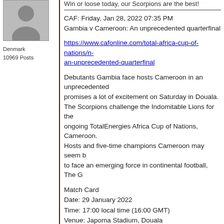[Figure (photo): Black and white avatar/profile photo of a person]
Denmark
10969 Posts
Win or loose today, our Scorpions are the best!
CAF: Friday, Jan 28, 2022 07:35 PM
Gambia v Cameroon: An unprecedented quarterfinal
https://www.cafonline.com/total-africa-cup-of-nations/n-an-unprecedented-quarterfinal
Debutants Gambia face hosts Cameroon in an unprecedented quarterfinal that promises a lot of excitement on Saturday in Douala. The Scorpions challenge the Indomitable Lions for the ongoing TotalEnergies Africa Cup of Nations, Cameroon. Hosts and five-time champions Cameroon may seem b to face an emerging force in continental football, The G
Match Card
Date: 29 January 2022
Time: 17:00 local time (16:00 GMT)
Venue: Japoma Stadium, Douala
Quarterfinal
Match: Gambia v Cameroon
Gambia players celebrate arter Musa Barrow (c) score
Gambia – Fairytale with a new chapter
The Gambia made it all the way through the qualifiers and round, passing a group that had DR Congo, Angola an